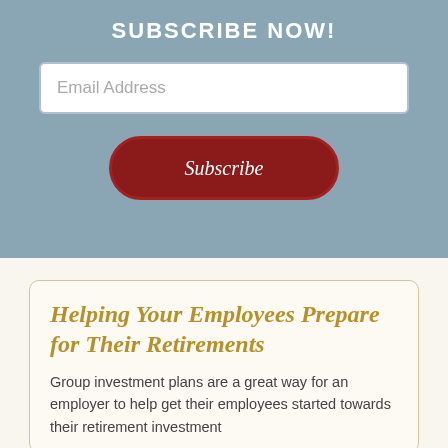SUBSCRIBE NOW!
Email Address
Subscribe
Helping Your Employees Prepare for Their Retirements
Group investment plans are a great way for an employer to help get their employees started towards their retirement investment